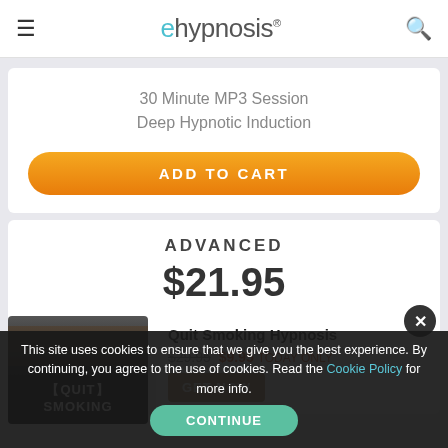ehypnosis
30 Minute MP3 Session
Deep Hypnotic Induction
ADD TO CART
ADVANCED
$21.95
[Figure (photo): Thumbnail image showing quit smoking hypnosis product with dark background and text 'QUIT SMOKING']
Quit Smoking Hypnosis
$9.95 TODAY ONLY
This site uses cookies to ensure that we give you the best experience. By continuing, you agree to the use of cookies. Read the Cookie Policy for more info.
CONTINUE